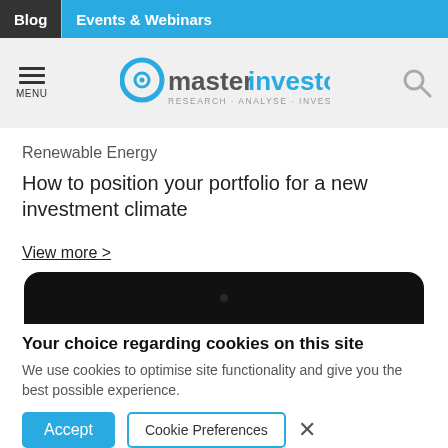Blog  Events & Webinars
[Figure (logo): Master Investor logo — circular eye icon with 'masterinvestor RESEARCH · ANALYSE · INVEST' text]
Renewable Energy
How to position your portfolio for a new investment climate
View more >
[Figure (photo): Top portion of a mobile phone with black casing]
Your choice regarding cookies on this site
We use cookies to optimise site functionality and give you the best possible experience.
Accept  Cookie Preferences  ×